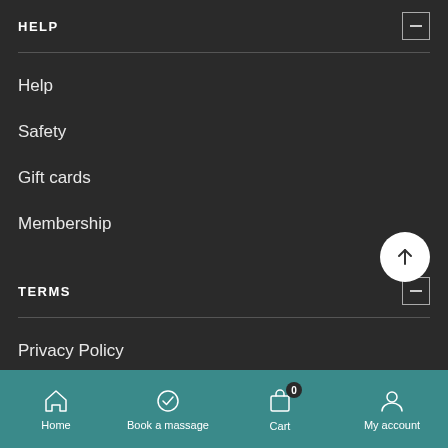HELP
Help
Safety
Gift cards
Membership
TERMS
Privacy Policy
Cookie policy
Home  Book a massage  Cart  My account